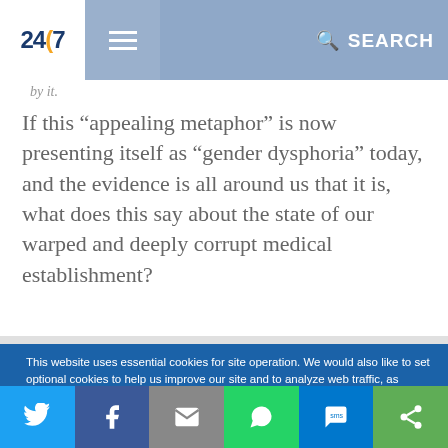24/7 [logo] [hamburger menu] SEARCH
by it.
If this “appealing metaphor” is now presenting itself as “gender dysphoria” today, and the evidence is all around us that it is, what does this say about the state of our warped and deeply corrupt medical establishment?
This website uses essential cookies for site operation. We would also like to set optional cookies to help us improve our site and to analyze web traffic, as described in the Privacy Compliance. You may accept or reject the use of optional cookies by clicking the Accept or Reject button.
ACCEPT | REJECT
[Figure (other): Social share bar with Twitter, Facebook, Email, WhatsApp, SMS, and ShareThis icons]